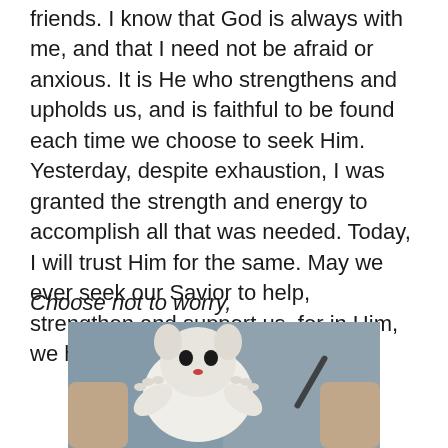friends. I know that God is always with me, and that I need not be afraid or anxious. It is He who strengthens and upholds us, and is faithful to be found each time we choose to seek Him. Yesterday, despite exhaustion, I was granted the strength and energy to accomplish all that was needed. Today, I will trust Him for the same. May we ever seek our Savior to help, strengthen and support us, for in Him, we have no reason to fear.
Choose not to worry,
[Figure (photo): Photo of a small white stuffed animal toy with black eyes and red mouth, lying on a blue-grey fabric surface, with hands visible on the sides.]